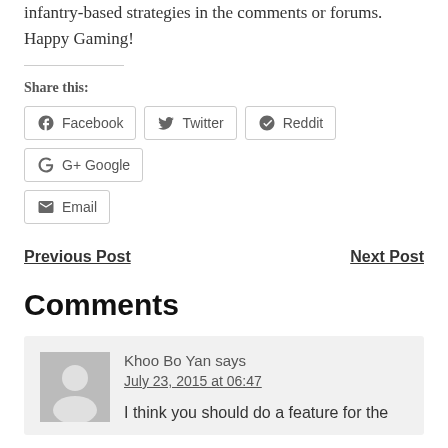infantry-based strategies in the comments or forums. Happy Gaming!
Share this:
Facebook Twitter Reddit Google Email
Previous Post
Next Post
Comments
Khoo Bo Yan says July 23, 2015 at 06:47 I think you should do a feature for the